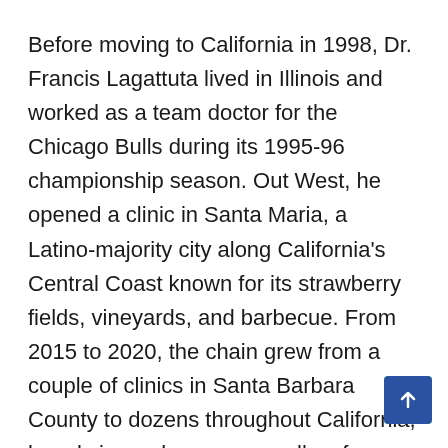Before moving to California in 1998, Dr. Francis Lagattuta lived in Illinois and worked as a team doctor for the Chicago Bulls during its 1995-96 championship season. Out West, he opened a clinic in Santa Maria, a Latino-majority city along California's Central Coast known for its strawberry fields, vineyards, and barbecue. From 2015 to 2020, the chain grew from a couple of clinics in Santa Barbara County to dozens throughout California, largely in rural areas, as well as far-flung locations in Washington state, Delaware, and Florida.
The California portion of the chain is organized as more than two dozen corporations and limited liability corporations owned by Lagattuta. His son, Francis P. Lagattuta II, was a manager for the